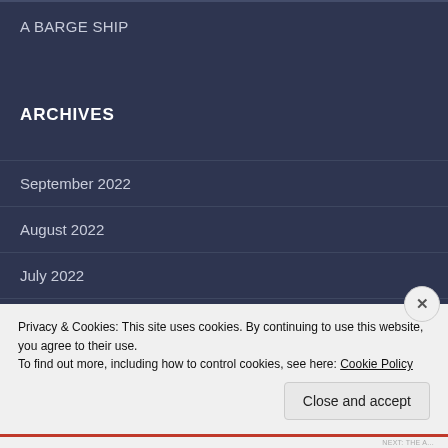A BARGE SHIP
ARCHIVES
September 2022
August 2022
July 2022
June 2022
May 2022
Privacy & Cookies: This site uses cookies. By continuing to use this website, you agree to their use.
To find out more, including how to control cookies, see here: Cookie Policy
Close and accept